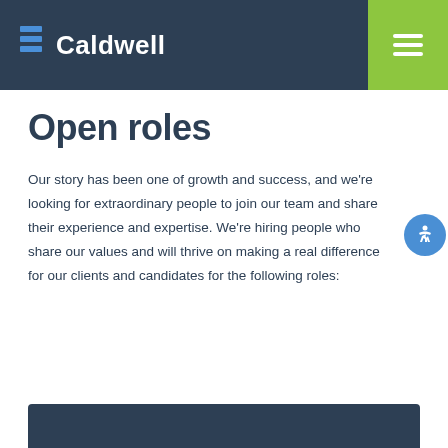Caldwell
Open roles
Our story has been one of growth and success, and we're looking for extraordinary people to join our team and share their experience and expertise. We're hiring people who share our values and will thrive on making a real difference for our clients and candidates for the following roles:
[Figure (other): Dark navy blue card/section at the bottom of the page]